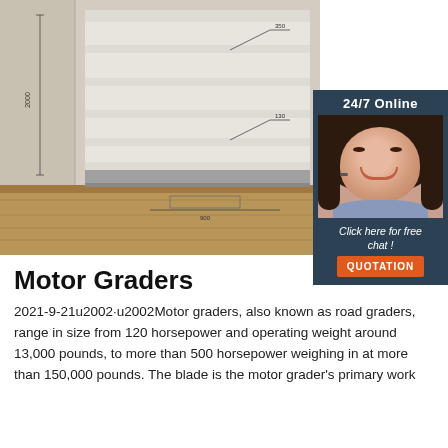[Figure (photo): Retail shelving unit with white shelves and dimension markings, shown in a store environment with wooden floor. A customer service widget overlay in the top-right shows a female operator with headset and '24/7 Online' text, 'Click here for free chat!', and a 'QUOTATION' button.]
Motor Graders
2021-9-21u2002·u2002Motor graders, also known as road graders, range in size from 120 horsepower and operating weight around 13,000 pounds, to more than 500 horsepower weighing in at more than 150,000 pounds. The blade is the motor grader's primary work